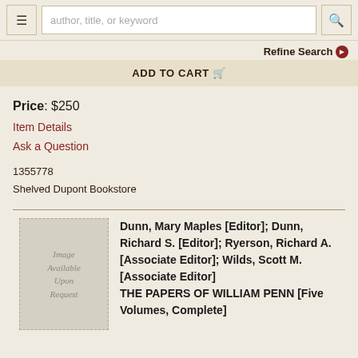author, title, or keyword [search bar]
Refine Search
ADD TO CART
Price: $250
Item Details
Ask a Question
1355778
Shelved Dupont Bookstore
[Figure (other): Image Available Upon Request placeholder for book cover]
Dunn, Mary Maples [Editor]; Dunn, Richard S. [Editor]; Ryerson, Richard A. [Associate Editor]; Wilds, Scott M. [Associate Editor]
THE PAPERS OF WILLIAM PENN [Five Volumes, Complete]